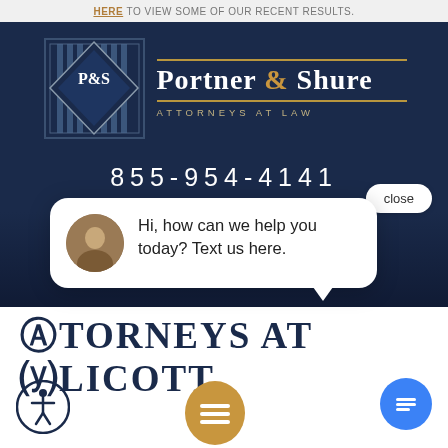HERE TO VIEW SOME OF OUR RECENT RESULTS.
[Figure (logo): Portner & Shure Attorneys at Law logo — navy blue diamond/square emblem with P&S monogram and vertical stripes, alongside firm name in white serif text with gold ampersand and gold rule lines]
855-954-4141
[Figure (screenshot): Chat popup widget showing avatar photo of a woman, with message: Hi, how can we help you today? Text us here. A 'close' button appears in the top right corner.]
Hi, how can we help you today? Text us here.
ATTORNEYS AT
ELLICOTT
[Figure (illustration): Accessibility icon (person in circle) at bottom left, chat/message icon button (blue circle with lines) at bottom right, and brown menu/cookie icon at bottom center]